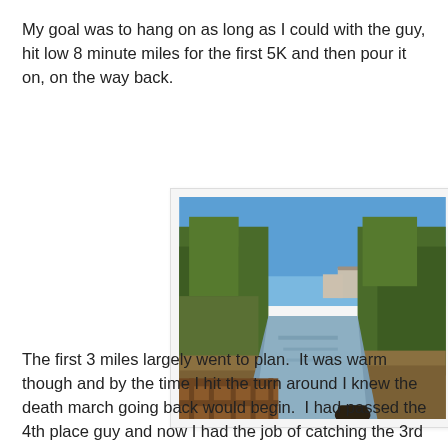My goal was to hang on as long as I could with the guy, hit low 8 minute miles for the first 5K and then pour it on, on the way back.
[Figure (photo): Outdoor photo taken from a wooden bridge overlooking a calm canal or drainage channel. Lush green trees and shrubs line both sides of the water. Residential buildings are visible in the background. Clear blue sky above.]
The first 3 miles largely went to plan.  It was warm though and by the time I hit the turn around I knew the death march going back would begin.  I had passed the 4th place guy and now I had the job of catching the 3rd place guy -- who was a